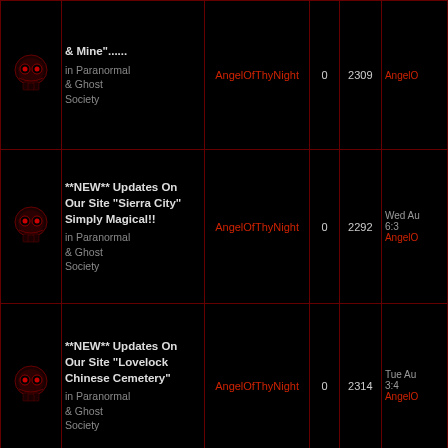| Icon | Topic | Author | Replies | Views | Last Post |
| --- | --- | --- | --- | --- | --- |
| [skull] | & Mine"......
in Paranormal & Ghost Society | AngelOfThyNight | 0 | 2309 | AngelO... |
| [skull] | **NEW** Updates On Our Site "Sierra City" Simply Magical!!
in Paranormal & Ghost Society | AngelOfThyNight | 0 | 2292 | Wed Aug 6:3
AngelO... |
| [skull] | **NEW** Updates On Our Site "Lovelock Chinese Cemetery"
in Paranormal & Ghost Society | AngelOfThyNight | 0 | 2314 | Tue Aug 3:4
AngelO... |
| [skull+star] | **NEW** Updates On Our Site "Lovelock Lone Mountain Cemetery
in Paranormal | AngelOfThyNight | 0 | 2331 | Mon Aug 10:
AngelO... |